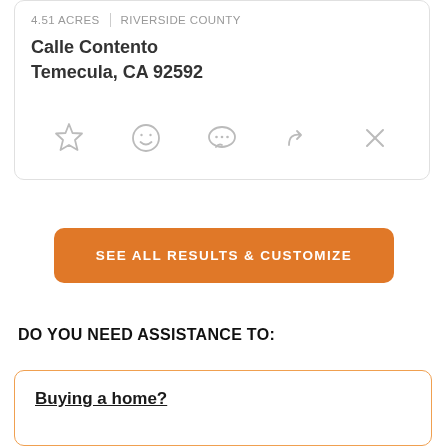4.51 ACRES | RIVERSIDE COUNTY
Calle Contento
Temecula, CA 92592
[Figure (other): Row of action icons: star (favorite), smiley face, chat bubble, share/forward arrow, close (X)]
SEE ALL RESULTS & CUSTOMIZE
DO YOU NEED ASSISTANCE TO:
Buying a home?